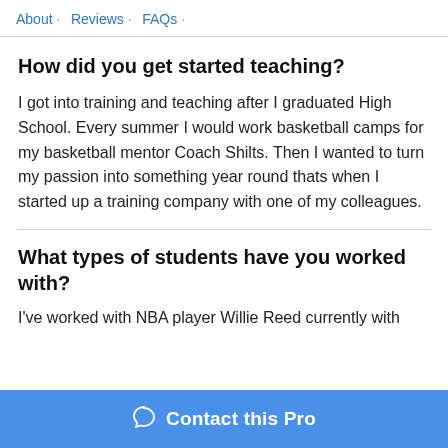About · Reviews · FAQs ·
How did you get started teaching?
I got into training and teaching after I graduated High School. Every summer I would work basketball camps for my basketball mentor Coach Shilts. Then I wanted to turn my passion into something year round thats when I started up a training company with one of my colleagues.
What types of students have you worked with?
I've worked with NBA player Willie Reed currently with